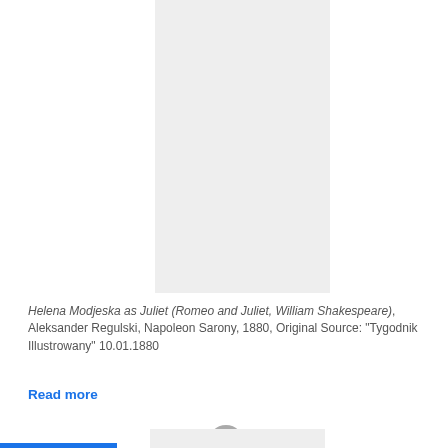[Figure (photo): Gray placeholder rectangle representing a portrait photograph of Helena Modjeska as Juliet]
Helena Modjeska as Juliet (Romeo and Juliet, William Shakespeare), Aleksander Regulski, Napoleon Sarony, 1880, Original Source: "Tygodnik Illustrowany" 10.01.1880
Read more